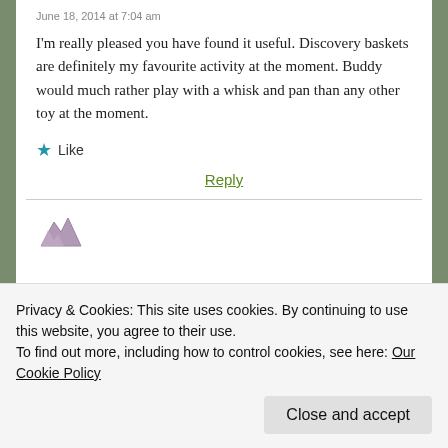June 18, 2014 at 7:04 am
I'm really pleased you have found it useful. Discovery baskets are definitely my favourite activity at the moment. Buddy would much rather play with a whisk and pan than any other toy at the moment.
★ Like
Reply
Privacy & Cookies: This site uses cookies. By continuing to use this website, you agree to their use.
To find out more, including how to control cookies, see here: Our Cookie Policy
Close and accept